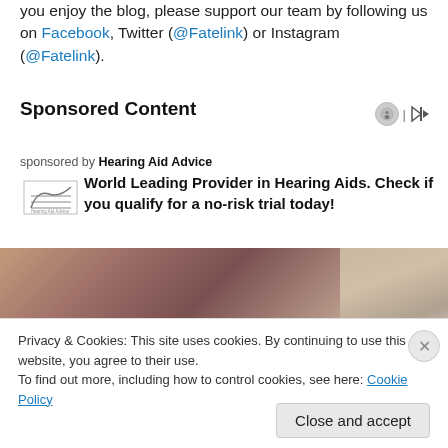you enjoy the blog, please support our team by following us on Facebook, Twitter (@Fatelink) or Instagram (@Fatelink).
Sponsored Content
sponsored by Hearing Aid Advice
World Leading Provider in Hearing Aids. Check if you qualify for a no-risk trial today!
[Figure (photo): Two photo panels side by side: left shows a blurred warm brownish-red background; right shows partial view of a person's head/hair.]
Privacy & Cookies: This site uses cookies. By continuing to use this website, you agree to their use.
To find out more, including how to control cookies, see here: Cookie Policy
Close and accept